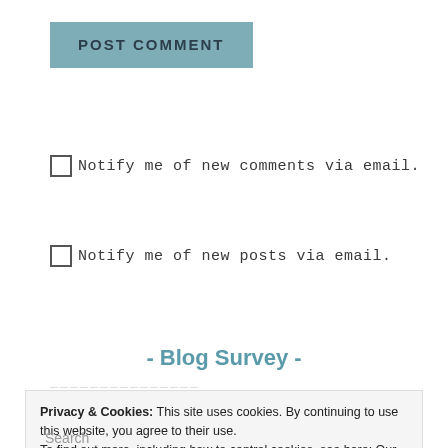[Figure (other): POST COMMENT button in teal/slate blue color with bold uppercase text]
Notify me of new comments via email.
Notify me of new posts via email.
- Blog Survey -
Privacy & Cookies: This site uses cookies. By continuing to use this website, you agree to their use.
To find out more, including how to control cookies, see here: Our Cookie Policy
Close and accept
Search